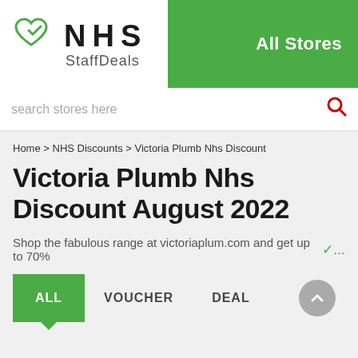[Figure (logo): NHS StaffDeals logo with green heart/checkmark icon and NHS StaffDeals text]
All Stores
search stores here
Home > NHS Discounts > Victoria Plumb Nhs Discount
Victoria Plumb Nhs Discount August 2022
Shop the fabulous range at victoriaplum.com and get up to 70%...
ALL   VOUCHER   DEAL